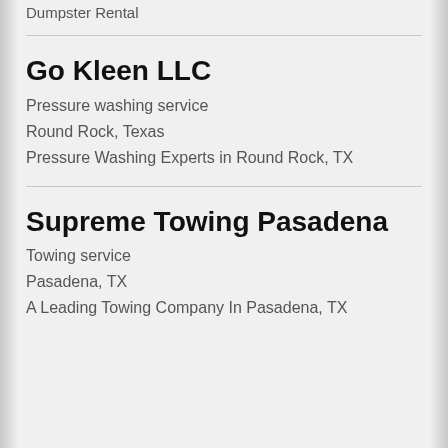Dumpster Rental
Go Kleen LLC
Pressure washing service
Round Rock, Texas
Pressure Washing Experts in Round Rock, TX
Supreme Towing Pasadena
Towing service
Pasadena, TX
A Leading Towing Company In Pasadena, TX